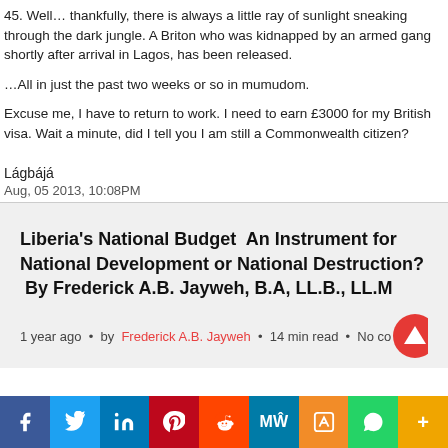45. Well… thankfully, there is always a little ray of sunlight sneaking through the dark jungle. A Briton who was kidnapped by an armed gang shortly after arrival in Lagos, has been released.
…All in just the past two weeks or so in mumudom.
Excuse me, I have to return to work. I need to earn £3000 for my British visa. Wait a minute, did I tell you I am still a Commonwealth citizen?
Lágbájá
Aug, 05 2013, 10:08PM
Liberia's National Budget  An Instrument for National Development or National Destruction?  By Frederick A.B. Jayweh, B.A, LL.B., LL.M
1 year ago  •  by Frederick A.B. Jayweh  •  14 min read  •  No comments